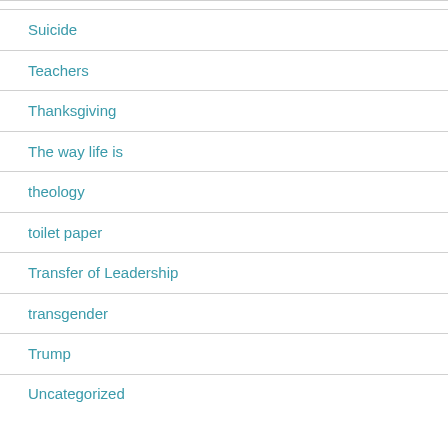Suicide
Teachers
Thanksgiving
The way life is
theology
toilet paper
Transfer of Leadership
transgender
Trump
Uncategorized